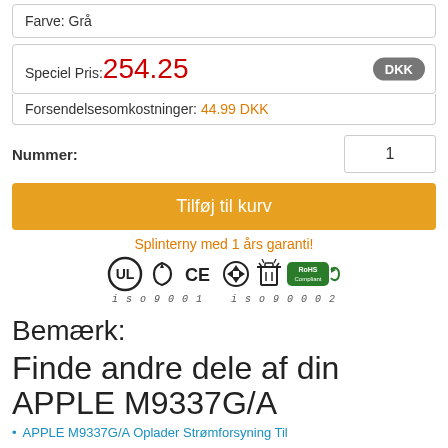Farve: Grå
Speciel Pris: 254.25 DKK
Forsendelsesomkostninger: 44.99 DKK
Nummer: 1
Tilføj til kurv
Splinterny med 1 års garanti!
[Figure (illustration): Certification icons: UL, recycling, CE, WEEE, RoHS Compliant, ISO9001, ISO9002]
Bemærk:
Finde andre dele af din APPLE M9337G/A
APPLE M9337G/A Oplader Strømforsyning Til